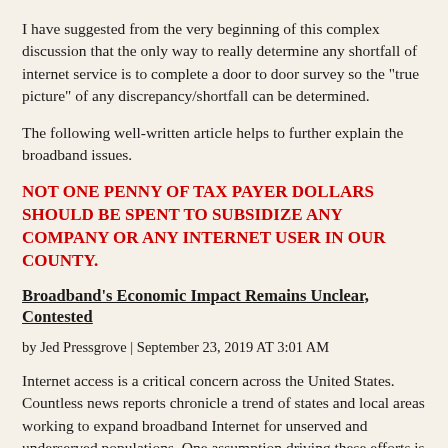I have suggested from the very beginning of this complex discussion that the only way to really determine any shortfall of internet service is to complete a door to door survey so the "true picture" of any discrepancy/shortfall can be determined.
The following well-written article helps to further explain the broadband issues.
NOT ONE PENNY OF TAX PAYER DOLLARS SHOULD BE SPENT TO SUBSIDIZE ANY COMPANY OR ANY INTERNET USER IN OUR COUNTY.
Broadband's Economic Impact Remains Unclear, Contested
by Jed Pressgrove | September 23, 2019 AT 3:01 AM
Internet access is a critical concern across the United States. Countless news reports chronicle a trend of states and local areas working to expand broadband Internet for unserved and underserved populations. One assumption driving these efforts is that improved broadband coverage will lead to better economic outcomes.